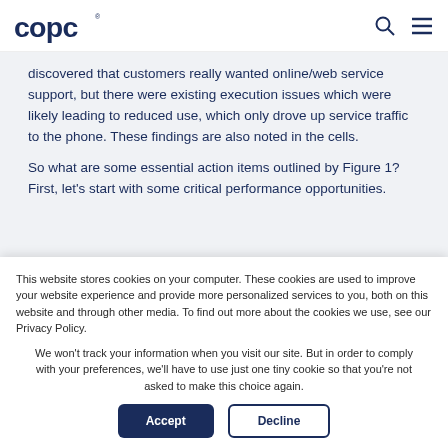COPC [logo] [search icon] [menu icon]
discovered that customers really wanted online/web service support, but there were existing execution issues which were likely leading to reduced use, which only drove up service traffic to the phone. These findings are also noted in the cells.
So what are some essential action items outlined by Figure 1? First, let's start with some critical performance opportunities.
This website stores cookies on your computer. These cookies are used to improve your website experience and provide more personalized services to you, both on this website and through other media. To find out more about the cookies we use, see our Privacy Policy.
We won't track your information when you visit our site. But in order to comply with your preferences, we'll have to use just one tiny cookie so that you're not asked to make this choice again.